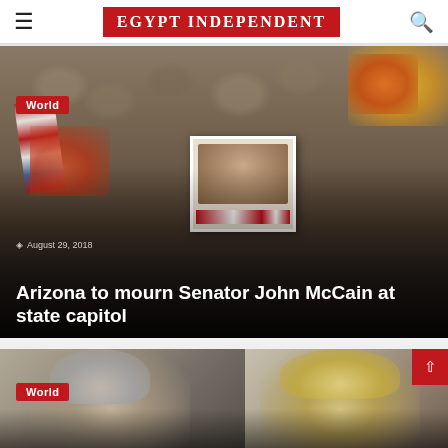EGYPT INDEPENDENT
[Figure (photo): Memorial with flowers, American flags, and a photo of Senator John McCain against a stone wall background]
World
August 29, 2018
Arizona to mourn Senator John McCain at state capitol
[Figure (photo): Two partially visible figures, one with grey hair on the left and one with blonde hair on the right]
World